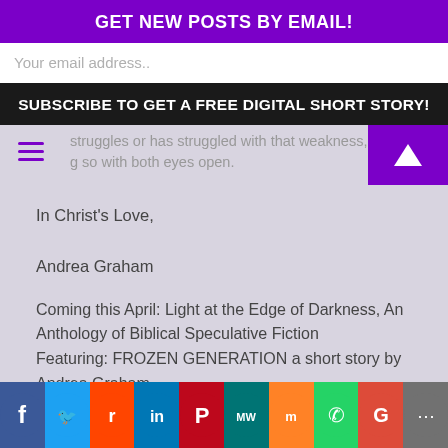GET NEW POSTS BY EMAIL!
Your email address..
SUBSCRIBE TO GET A FREE DIGITAL SHORT STORY!
struggles or has struggled with that weakness, that g so with both eyes open.
In Christ's Love,

Andrea Graham
Coming this April: Light at the Edge of Darkness, An Anthology of Biblical Speculative Fiction
Featuring: FROZEN GENERATION a short story by Andrea Graham
[Figure (infographic): Social media sharing icons row: Facebook (blue), Twitter (light blue), Reddit (orange), LinkedIn (blue), Pinterest (red), MeWe (teal), Mix (orange), WhatsApp (green), Google (red), Share (dark gray)]